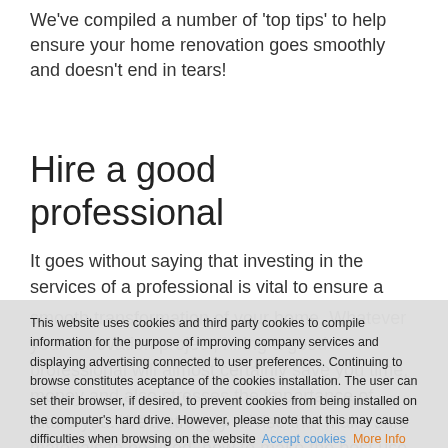We've compiled a number of 'top tips' to help ensure your home renovation goes smoothly and doesn't end in tears!
Hire a good professional
It goes without saying that investing in the services of a professional is vital to ensure a smooth transformation of your home. Whatever your renovation project, hiring a good professional will almost certainly save you time, money and also stress...
This website uses cookies and third party cookies to compile information for the purpose of improving company services and displaying advertising connected to user preferences. Continuing to browse constitutes aceptance of the cookies installation. The user can set their browser, if desired, to prevent cookies from being installed on the computer's hard drive. However, please note that this may cause difficulties when browsing on the website  Accept cookies  More Info